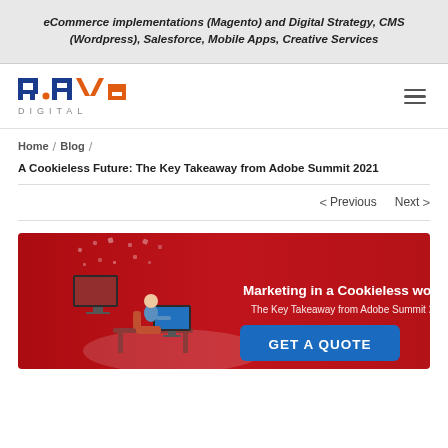eCommerce implementations (Magento) and Digital Strategy, CMS (Wordpress), Salesforce, Mobile Apps, Creative Services
[Figure (logo): Rave Digital logo — stylized 'rave' in blue and orange with 'DIGITAL' below in grey letters]
Home / Blog /
A Cookieless Future: The Key Takeaway from Adobe Summit 2021
< Previous    Next >
[Figure (illustration): Red banner illustration for 'Marketing in a Cookieless world — The Key Takeaway from Adobe Summit 2021' with a person at a computer desk and a blue 'GET A QUOTE' button]